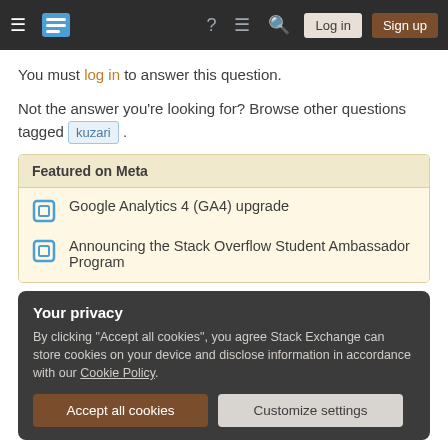Navigation bar with logo, icons, Log in and Sign up buttons
You must log in to answer this question.
Not the answer you're looking for? Browse other questions tagged kuzari .
Featured on Meta
Google Analytics 4 (GA4) upgrade
Announcing the Stack Overflow Student Ambassador Program
Your privacy
By clicking "Accept all cookies", you agree Stack Exchange can store cookies on your device and disclose information in accordance with our Cookie Policy.
Accept all cookies | Customize settings